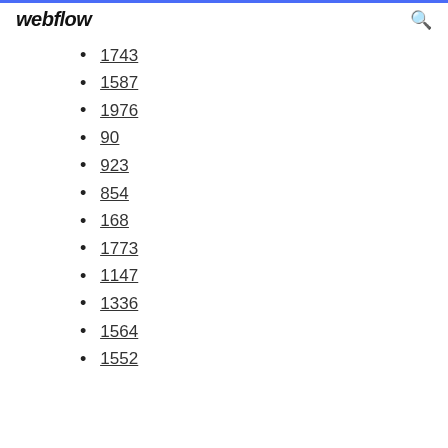webflow
1743
1587
1976
90
923
854
168
1773
1147
1336
1564
1552